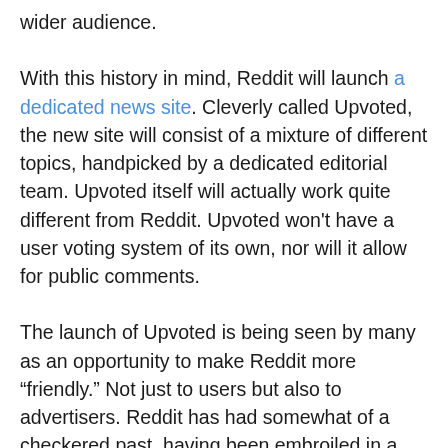wider audience.
With this history in mind, Reddit will launch a dedicated news site. Cleverly called Upvoted, the new site will consist of a mixture of different topics, handpicked by a dedicated editorial team. Upvoted itself will actually work quite different from Reddit. Upvoted won't have a user voting system of its own, nor will it allow for public comments.
The launch of Upvoted is being seen by many as an opportunity to make Reddit more “friendly.” Not just to users but also to advertisers. Reddit has had somewhat of a checkered past, having been embroiled in a number of controversies. Many of its users view Reddit as an “anything goes” zone, where they can post whatever they want. But this mentality can be problematic, as it may offend other users or drive potential sponsors away who don’t